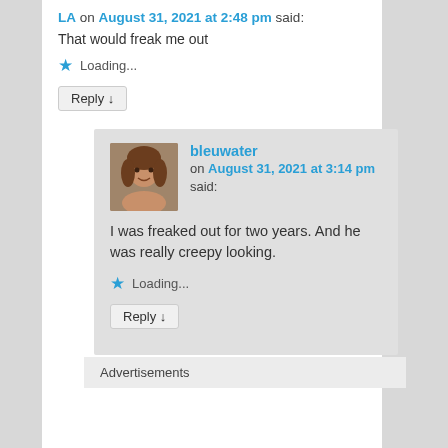LA on August 31, 2021 at 2:48 pm said:
That would freak me out
Loading...
Reply ↓
bleuwater on August 31, 2021 at 3:14 pm said:
I was freaked out for two years. And he was really creepy looking.
Loading...
Reply ↓
Advertisements